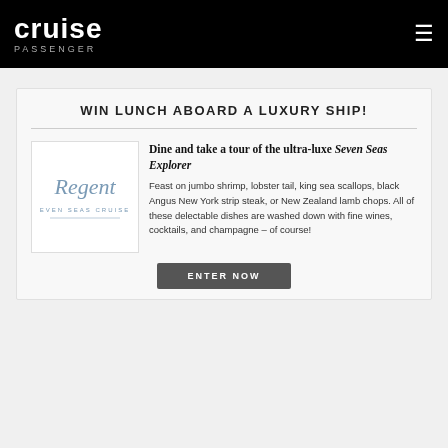cruise passenger
WIN LUNCH ABOARD A LUXURY SHIP!
[Figure (logo): Regent Seven Seas Cruises logo in blue/grey italic script]
Dine and take a tour of the ultra-luxe Seven Seas Explorer
Feast on jumbo shrimp, lobster tail, king sea scallops, black Angus New York strip steak, or New Zealand lamb chops. All of these delectable dishes are washed down with fine wines, cocktails, and champagne – of course!
ENTER NOW